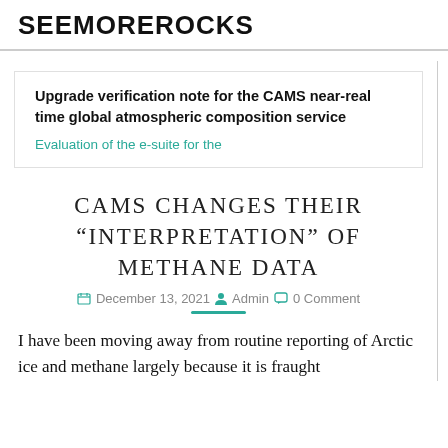SEEMOREROCKS
Upgrade verification note for the CAMS near-real time global atmospheric composition service
Evaluation of the e-suite for the
CAMS CHANGES THEIR “INTERPRETATION” OF METHANE DATA
December 13, 2021  Admin  0 Comment
I have been moving away from routine reporting of Arctic ice and methane largely because it is fraught and depending on the results there are some that